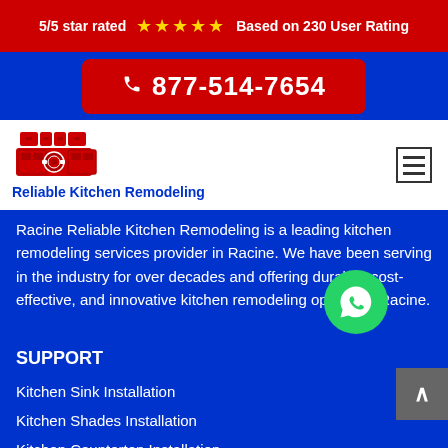5/5 star rated ★★★★★ Based on 230 User Rating
📞 877-514-7654
[Figure (logo): Reliable Kitchen Remodeling logo icon in red, showing a camera/kitchen appliance graphic]
Reliable Kitchen Remodeling
Racine Reliable Kitchen Remodeling is a leading kitchen remodeling services provider in Racine. We have been serving in the industry for over decades and offering durable, cost-effective, and innovative kitchen remodeling options in Racine.
SUPPORT
Kitchen Sink Installation
Kitchen Shades Installation
Kitchen Countertop Installation